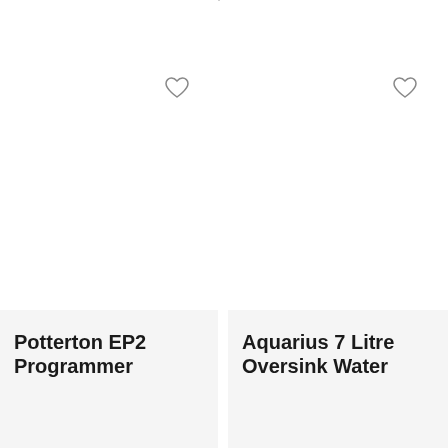[Figure (other): Product card left: white background with heart/wishlist icon at top right corner of card]
[Figure (other): Product card right: white background with heart/wishlist icon at top right corner of card]
Potterton EP2 Programmer
Aquarius 7 Litre Oversink Water